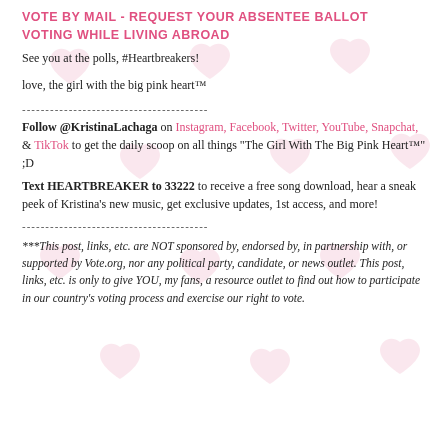VOTE BY MAIL - REQUEST YOUR ABSENTEE BALLOT
VOTING WHILE LIVING ABROAD
See you at the polls, #Heartbreakers!
love, the girl with the big pink heart™
----------------------------------------
Follow @KristinaLachaga on Instagram, Facebook, Twitter, YouTube, Snapchat, & TikTok to get the daily scoop on all things "The Girl With The Big Pink Heart™" ;D
Text HEARTBREAKER to 33222 to receive a free song download, hear a sneak peek of Kristina's new music, get exclusive updates, 1st access, and more!
----------------------------------------
***This post, links, etc. are NOT sponsored by, endorsed by, in partnership with, or supported by Vote.org, nor any political party, candidate, or news outlet. This post, links, etc. is only to give YOU, my fans, a resource outlet to find out how to participate in our country's voting process and exercise our right to vote.